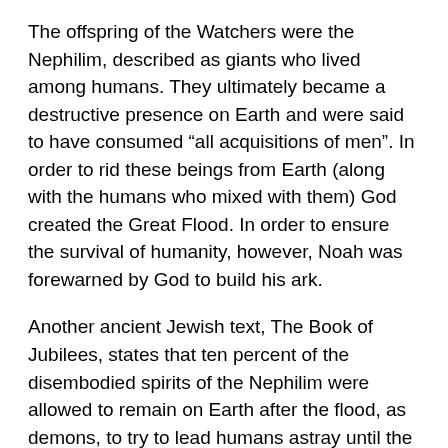The offspring of the Watchers were the Nephilim, described as giants who lived among humans. They ultimately became a destructive presence on Earth and were said to have consumed “all acquisitions of men”. In order to rid these beings from Earth (along with the humans who mixed with them) God created the Great Flood. In order to ensure the survival of humanity, however, Noah was forewarned by God to build his ark.
Another ancient Jewish text, The Book of Jubilees, states that ten percent of the disembodied spirits of the Nephilim were allowed to remain on Earth after the flood, as demons, to try to lead humans astray until the Final Judgement. Is this why the occult elite is so bent on corrupting the masses with materiality and perversion?
So who were the Watchers and the Nephilim? Many different researchers have proposed many different